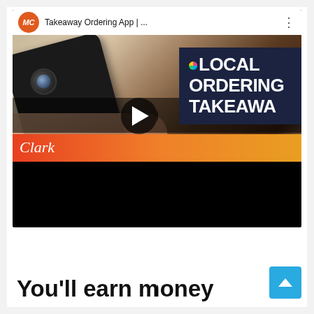[Figure (screenshot): Screenshot of a YouTube-style video card showing 'Takeaway Ordering App | ...' with an MC (orange circle) avatar, a video thumbnail of a hand holding a black smartphone with 'LOCAL ORDERING TAKEAWA' text overlay on dark blue background and a play button, an orange-red gradient banner with 'Clark' in cursive, and a black bottom strip.]
You'll earn money